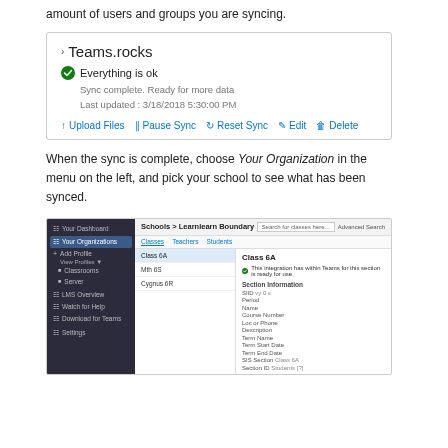amount of users and groups you are syncing.
[Figure (screenshot): Teams.rocks sync status panel showing 'Everything is ok', Sync complete. Ready for more data, Last updated: 3/18/2018 5:30:00 PM, with action links: Upload Files, Pause Sync, Reset Sync, Edit, Delete]
When the sync is complete, choose Your Organization in the menu on the left, and pick your school to see what has been synced.
[Figure (screenshot): Application screenshot showing school browser interface with left sidebar navigation (Your Dashboard, Your Organizations, Add Profile, View Profiles, Classrooms, Server, LMS Overview, Watch for Help, Download for Teams, Settings), main content showing Schools > Learnlearn Boundary with Classes list and Class 6A detail panel]